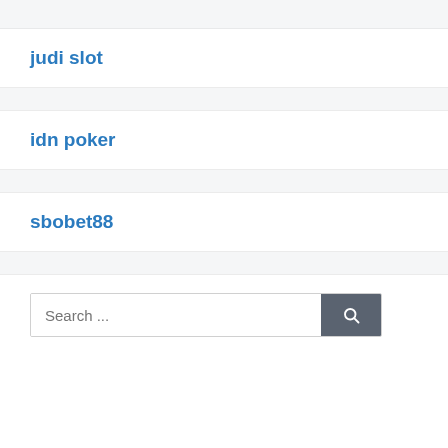judi slot
idn poker
sbobet88
Search ...